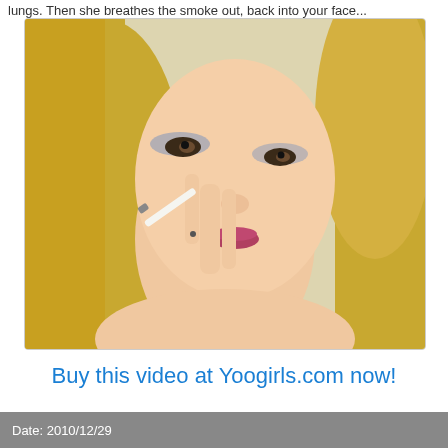lungs. Then she breathes the smoke out, back into your face...
[Figure (photo): Close-up photo of a blonde woman holding a cigarette near her face, looking at the camera with a sultry expression.]
Buy this video at Yoogirls.com now!
Date: 2010/12/29